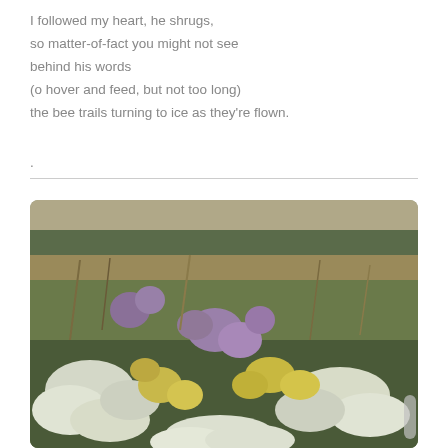I followed my heart, he shrugs,
so matter-of-fact you might not see
behind his words
(o hover and feed, but not too long)
the bee trails turning to ice as they're flown.

.
[Figure (photo): A wildflower meadow with purple, yellow, and white flowers and tall grasses in the background, photographed in natural daylight.]